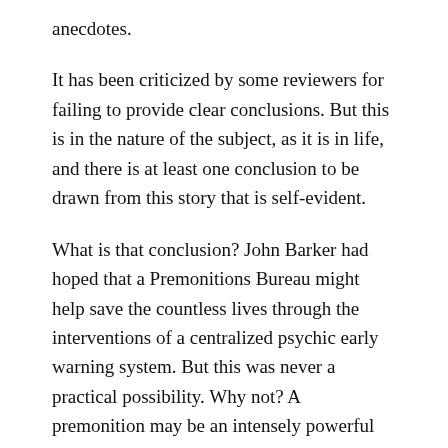anecdotes.
It has been criticized by some reviewers for failing to provide clear conclusions. But this is in the nature of the subject, as it is in life, and there is at least one conclusion to be drawn from this story that is self-evident.
What is that conclusion? John Barker had hoped that a Premonitions Bureau might help save the countless lives through the interventions of a centralized psychic early warning system. But this was never a practical possibility. Why not? A premonition may be an intensely powerful feeling, but it lacks detailed information sufficient for anyone to act on it in any meaningful practical way.